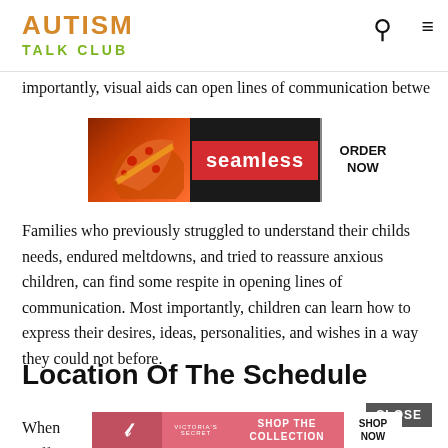AUTISM TALK CLUB
importantly, visual aids can open lines of communication betwe
[Figure (screenshot): Seamless food delivery advertisement with pizza image, 'seamless' branding in red, and 'ORDER NOW' button]
Families who previously struggled to understand their childs needs, endured meltdowns, and tried to reassure anxious children, can find some respite in opening lines of communication. Most importantly, children can learn how to express their desires, ideas, personalities, and wishes in a way they could not before.
Location Of The Schedule
When le, staff m the
[Figure (screenshot): Victoria's Secret advertisement with model, logo, 'SHOP THE COLLECTION' text, and 'SHOP NOW' button. Includes CLOSE button.]